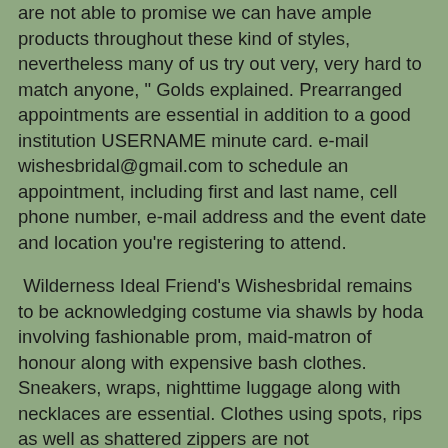are not able to promise we can have ample products throughout these kind of styles, nevertheless many of us try out very, very hard to match anyone, " Golds explained. Prearranged appointments are essential in addition to a good institution USERNAME minute card. e-mail wishesbridal@gmail.com to schedule an appointment, including first and last name, cell phone number, e-mail address and the event date and location you're registering to attend.
Wilderness Ideal Friend's Wishesbridal remains to be acknowledging costume via shawls by hoda involving fashionable prom, maid-matron of honour along with expensive bash clothes. Sneakers, wraps, nighttime luggage along with necklaces are essential. Clothes using spots, rips as well as shattered zippers are not acknowledged. Most clothes have to be cleansed, with a hanger along with able to don. The two prolonged along with small clothes are needed, along with you will find there's substantial requirement of clothes throughout styles 15 as well as more substantial, Golds explained. Wilderness Ideal Friend's Wishesbridal allows low-income Coachella Vly people to get career by way of education and learning along with closet solutions